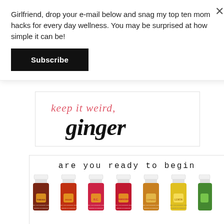Girlfriend, drop your e-mail below and snag my top ten mom hacks for every day wellness. You may be surprised at how simple it can be!
Subscribe
[Figure (illustration): Script text reading 'keep it weird, ginger' in pink italic and bold black handwritten fonts on white background with light border]
[Figure (photo): Young Living essential oil bottles (Thieves, DiGize, R.C., Frankincense, Copaiba, Lemon, and partially visible bottle) with text 'are you ready to begin' above them]